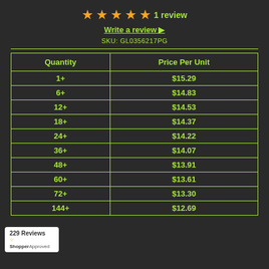★★★★★ 1 review
Write a review ▶
SKU: GL0356217PG
| Quantity | Price Per Unit |
| --- | --- |
| 1+ | $15.29 |
| 6+ | $14.83 |
| 12+ | $14.53 |
| 18+ | $14.37 |
| 24+ | $14.22 |
| 36+ | $14.07 |
| 48+ | $13.91 |
| 60+ | $13.61 |
| 72+ | $13.30 |
| 144+ | $12.69 |
229 Reviews
ShopperApproved